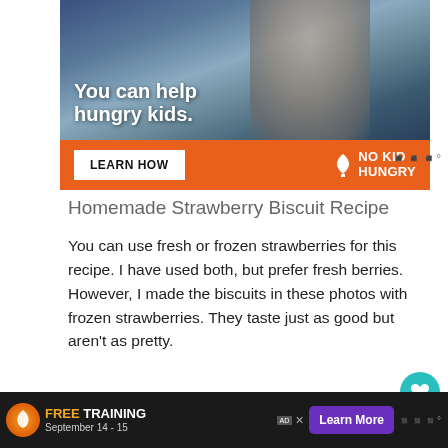[Figure (photo): No Kid Hungry advertisement banner showing a child eating with text 'You can help hungry kids.' and a LEARN HOW button on an orange background]
Homemade Strawberry Biscuit Recipe
You can use fresh or frozen strawberries for this recipe. I have used both, but prefer fresh berries. However, I made the biscuits in these photos with frozen strawberries. They taste just as good but aren't as pretty.
Additionally, you can use butter or solid
[Figure (photo): Bottom advertisement banner for free training event September 14-15 with Learn More button]